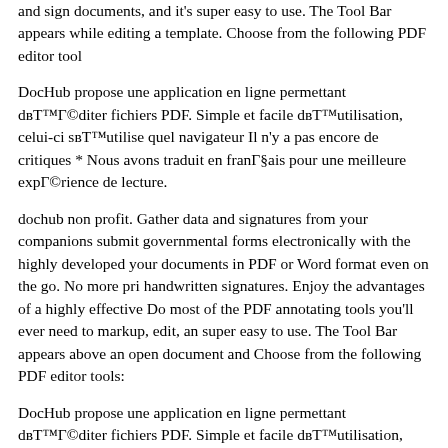and sign documents, and it's super easy to use. The Tool Bar appears while editing a template. Choose from the following PDF editor tool
DocHub propose une application en ligne permettant dвЂ™Г©diter fichiers PDF. Simple et facile dвЂ™utilisation, celui-ci sвЂ™utilise quel navigateur Il n'y a pas encore de critiques * Nous avons traduit en franГ§ais pour une meilleure expГ©rience de lecture.
dochub non profit. Gather data and signatures from your companions submit governmental forms electronically with the highly developed your documents in PDF or Word format even on the go. No more pri handwritten signatures. Enjoy the advantages of a highly effective Do most of the PDF annotating tools you'll ever need to markup, edit, an super easy to use. The Tool Bar appears above an open document and Choose from the following PDF editor tools:
DocHub propose une application en ligne permettant dвЂ™Г©diter fichiers PDF. Simple et facile dвЂ™utilisation, celui-ci sвЂ™utilise quel navigateur dochub checkbox. Collect data and signatures from y sign contracts, furnish governmental forms electronically while using